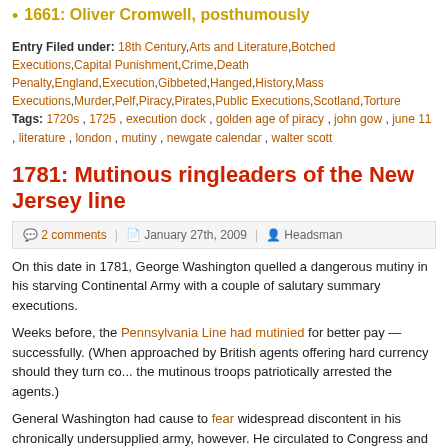1661: Oliver Cromwell, posthumously
Entry Filed under: 18th Century,Arts and Literature,Botched Executions,Capital Punishment,Crime,Death Penalty,England,Execution,Gibbeted,Hanged,History,Mass Executions,Murder,Pelf,Piracy,Pirates,Public Executions,Scotland,Torture
Tags: 1720s , 1725 , execution dock , golden age of piracy , john gow , june 11 , literature , london , mutiny , newgate calendar , walter scott
1781: Mutinous ringleaders of the New Jersey line
2 comments | January 27th, 2009 | Headsman
On this date in 1781, George Washington quelled a dangerous mutiny in his starving Continental Army with a couple of salutary summary executions.
Weeks before, the Pennsylvania Line had mutinied for better pay — successfully. (When approached by British agents offering hard currency should they turn co... the mutinous troops patriotically arrested the agents.)
General Washington had cause to fear widespread discontent in his chronically undersupplied army, however. He circulated to Congress and to several state governors an urgent appeal (.pdf) for more aid to hold up morale.
The aggravated calamities and distresses that have resulted from the total want of pay for nearly twelve months, the want of clothing at a severe season, and not unfrequently the want of provisions, are beyond description … it is vain to think an army can be kept together much longer under such a variety of sufferings as ours has experienced … unless